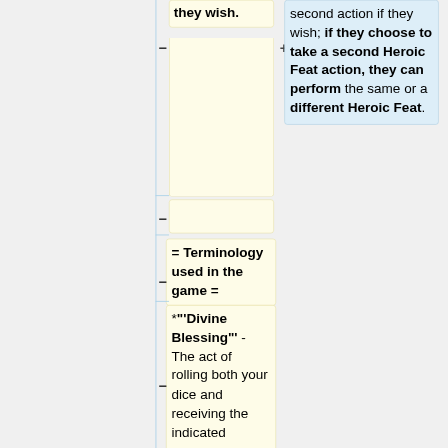second action if they wish.
second action if they wish; if they choose to take a second Heroic Feat action, they can perform the same or a different Heroic Feat.
= Terminology used in the game =
*"'Divine Blessing"' - The act of rolling both your dice and receiving the indicated resources.